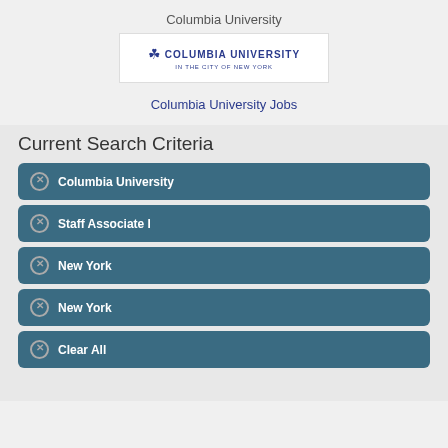Columbia University
[Figure (logo): Columbia University in the City of New York logo with crown icon and text]
Columbia University Jobs
Current Search Criteria
Columbia University
Staff Associate I
New York
New York
Clear All